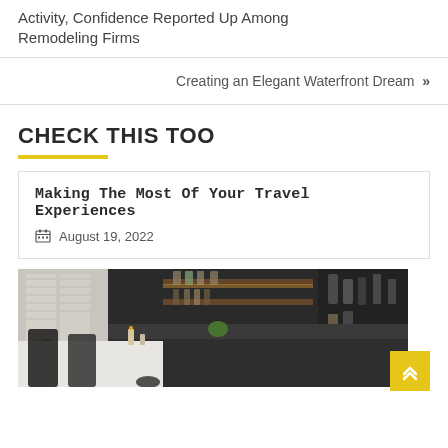Activity, Confidence Reported Up Among Remodeling Firms
Creating an Elegant Waterfront Dream »
CHECK THIS TOO
Making The Most Of Your Travel Experiences
August 19, 2022
[Figure (photo): Interior kitchen/bar area with dark shelving, wood panels, warm lighting, plants, candles, and a white table with black chairs]